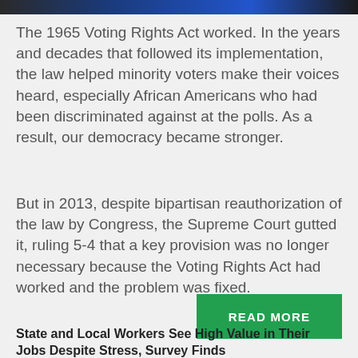[Figure (photo): Cropped top image bar showing a dark photo with blue tones]
The 1965 Voting Rights Act worked. In the years and decades that followed its implementation, the law helped minority voters make their voices heard, especially African Americans who had been discriminated against at the polls. As a result, our democracy became stronger.
But in 2013, despite bipartisan reauthorization of the law by Congress, the Supreme Court gutted it, ruling 5-4 that a key provision was no longer necessary because the Voting Rights Act had worked and the problem was fixed.
READ MORE
State and Local Workers See High Value in Their Jobs Despite Stress, Survey Finds